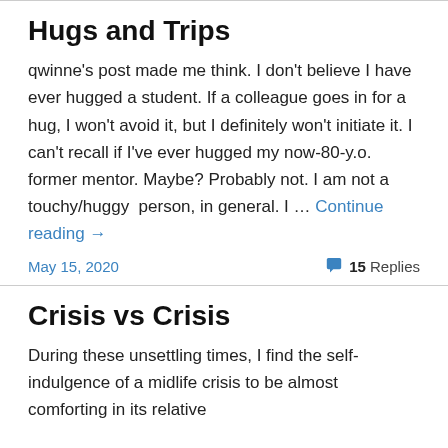Hugs and Trips
qwinne's post made me think. I don't believe I have ever hugged a student. If a colleague goes in for a hug, I won't avoid it, but I definitely won't initiate it. I can't recall if I've ever hugged my now-80-y.o. former mentor. Maybe? Probably not. I am not a touchy/huggy  person, in general. I … Continue reading →
May 15, 2020
15 Replies
Crisis vs Crisis
During these unsettling times, I find the self-indulgence of a midlife crisis to be almost comforting in its relative